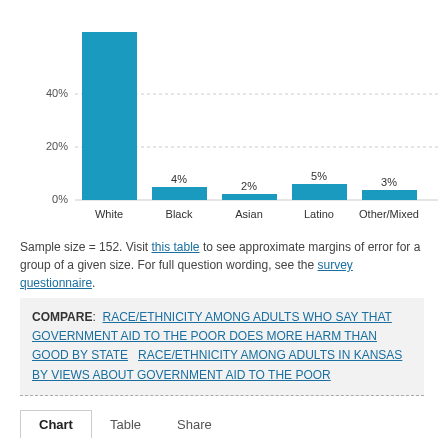[Figure (bar-chart): Race/Ethnicity among adults in Kansas who say government aid does more harm than good]
Sample size = 152. Visit this table to see approximate margins of error for a group of a given size. For full question wording, see the survey questionnaire.
COMPARE: RACE/ETHNICITY AMONG ADULTS WHO SAY THAT GOVERNMENT AID TO THE POOR DOES MORE HARM THAN GOOD BY STATE   RACE/ETHNICITY AMONG ADULTS IN KANSAS BY VIEWS ABOUT GOVERNMENT AID TO THE POOR
Chart   Table   Share